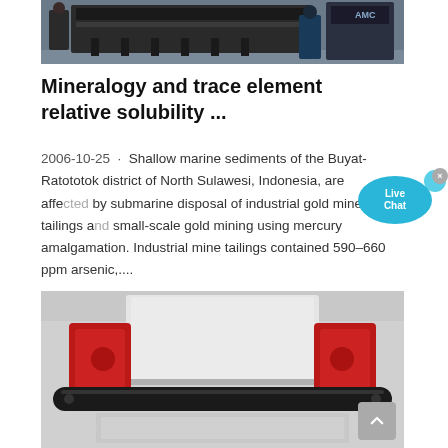[Figure (photo): Industrial machinery in a factory setting with workers visible in the background. Dark heavy equipment shown.]
Mineralogy and trace element relative solubility ...
2006-10-25 · Shallow marine sediments of the Buyat-Ratototok district of North Sulawesi, Indonesia, are affected by submarine disposal of industrial gold mine tailings and small-scale gold mining using mercury amalgamation. Industrial mine tailings contained 590–660 ppm arsenic,...
[Figure (photo): Close-up photo of an industrial roller machine with red side components, white panel, and a black roller bar.]